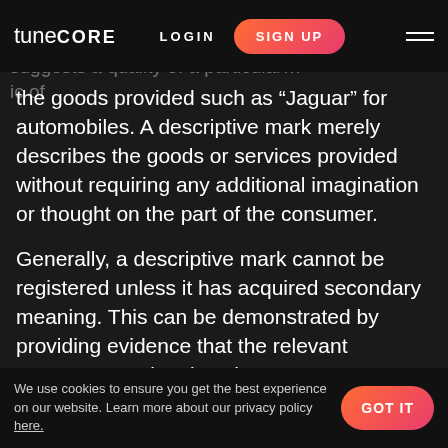tunecore | LOGIN | SIGN UP
for computers. A suggestive mark... suggests a quality of a particular... ic of
the goods provided such as “Jaguar” for automobiles. A descriptive mark merely describes the goods or services provided without requiring any additional imagination or thought on the part of the consumer.
Generally, a descriptive mark cannot be registered unless it has acquired secondary meaning. This can be demonstrated by providing evidence that the relevant consumer marketplace has come to associate this particular mark with the goods provided with the mark. Additionally, use of a mark in commerce for over five years can create a presumption of secondary meaning that...
We use cookies to ensure you get the best experience on our website. Learn more about our privacy policy here. | GOT IT